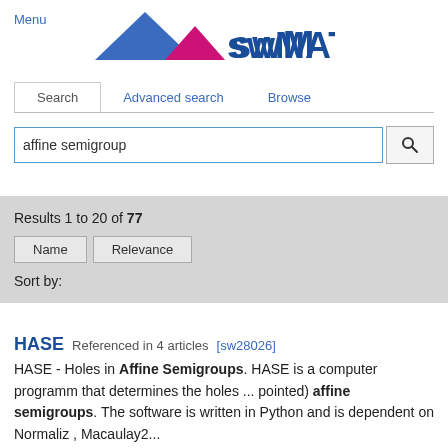Menu
[Figure (logo): swMATH logo with two triangles (blue and magenta) and stylized text 'swMATH']
Search | Advanced search | Browse
affine semigroup [search box with search button]
Results 1 to 20 of 77  Sort by: Name  Relevance
HASE  Referenced in 4 articles [sw28026]  HASE - Holes in Affine Semigroups. HASE is a computer programm that determines the holes ... pointed) affine semigroups. The software is written in Python and is dependent on Normaliz , Macaulay2...